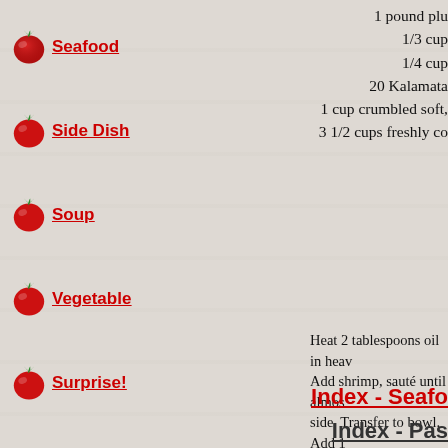Seafood
Side Dish
Soup
Vegetable
Surprise!
1 pound plu
1/3 cup
1/4 cup
20 Kalamata
1 cup crumbled soft,
3 1/2 cups freshly co
Heat 2 tablespoons oil in heav Add shrimp, sauté until almos side. Transfer to bowl. Add 1 sliced fennel, garlic and crus tomatoes and wine; simmer u Return shrimp to skillet. Add 1 shrimp are cooked through, e pepper. Add goat cheese and si 30 seconds. Place orzo in bow fennel f
[Figure (illustration): Flag Campaign icon - small document/flag image placeholder]
Index - Seafo
Index - Pas